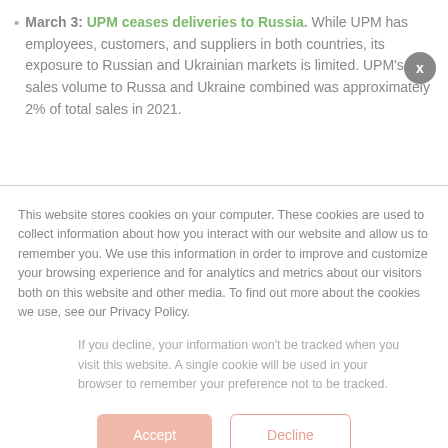March 3: UPM ceases deliveries to Russia. While UPM has employees, customers, and suppliers in both countries, its exposure to Russian and Ukrainian markets is limited. UPM's sales volume to Russia and Ukraine combined was approximately 2% of total sales in 2021.
This website stores cookies on your computer. These cookies are used to collect information about how you interact with our website and allow us to remember you. We use this information in order to improve and customize your browsing experience and for analytics and metrics about our visitors both on this website and other media. To find out more about the cookies we use, see our Privacy Policy.
If you decline, your information won't be tracked when you visit this website. A single cookie will be used in your browser to remember your preference not to be tracked.